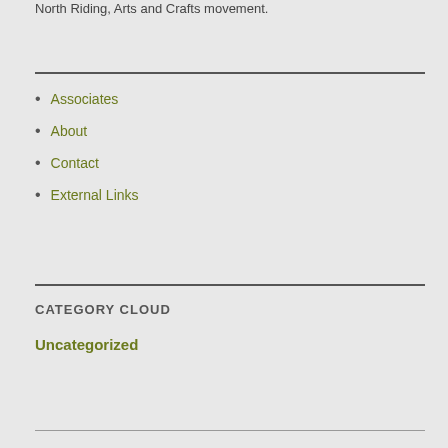North Riding, Arts and Crafts movement.
Associates
About
Contact
External Links
CATEGORY CLOUD
Uncategorized